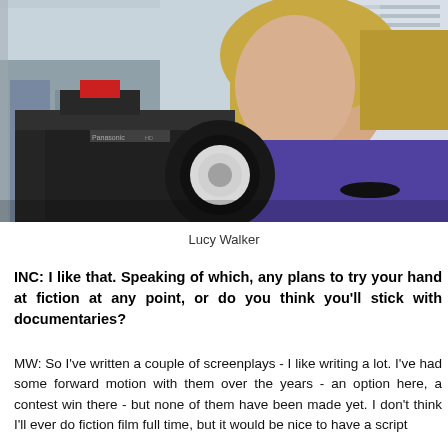[Figure (photo): A blonde woman in a purple top posing next to a large professional Panasonic HD video camera, with a city skyline visible through windows in the background.]
Lucy Walker
INC: I like that. Speaking of which, any plans to try your hand at fiction at any point, or do you think you'll stick with documentaries?
MW: So I've written a couple of screenplays - I like writing a lot. I've had some forward motion with them over the years - an option here, a contest win there - but none of them have been made yet. I don't think I'll ever do fiction film full time, but it would be nice to have a script